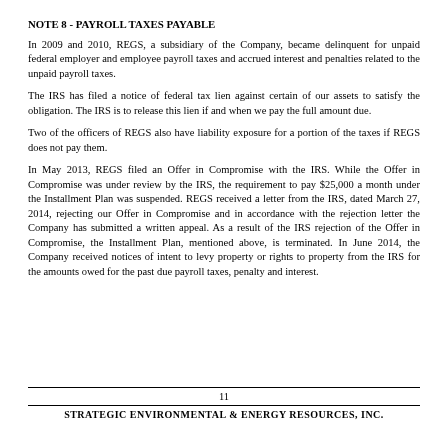NOTE 8 - PAYROLL TAXES PAYABLE
In 2009 and 2010, REGS, a subsidiary of the Company, became delinquent for unpaid federal employer and employee payroll taxes and accrued interest and penalties related to the unpaid payroll taxes.
The IRS has filed a notice of federal tax lien against certain of our assets to satisfy the obligation. The IRS is to release this lien if and when we pay the full amount due.
Two of the officers of REGS also have liability exposure for a portion of the taxes if REGS does not pay them.
In May 2013, REGS filed an Offer in Compromise with the IRS. While the Offer in Compromise was under review by the IRS, the requirement to pay $25,000 a month under the Installment Plan was suspended. REGS received a letter from the IRS, dated March 27, 2014, rejecting our Offer in Compromise and in accordance with the rejection letter the Company has submitted a written appeal. As a result of the IRS rejection of the Offer in Compromise, the Installment Plan, mentioned above, is terminated. In June 2014, the Company received notices of intent to levy property or rights to property from the IRS for the amounts owed for the past due payroll taxes, penalty and interest.
11
STRATEGIC ENVIRONMENTAL & ENERGY RESOURCES, INC.